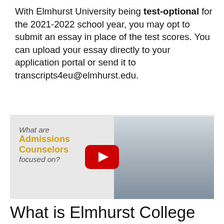With Elmhurst University being test-optional for the 2021-2022 school year, you may opt to submit an essay in place of the test scores. You can upload your essay directly to your application portal or send it to transcripts4eu@elmhurst.edu.
[Figure (screenshot): YouTube video thumbnail showing a man in a suit with text 'What are Admissions Counselors focused on?' and a red YouTube play button overlay]
What is Elmhurst College known for?